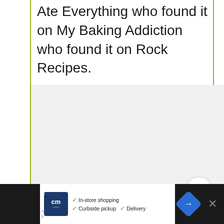Ate Everything who found it on My Baking Addiction who found it on Rock Recipes.
[Figure (photo): Large light gray placeholder image area for recipe photo]
WHAT'S NEXT → Texas Roadhouse...
In-store shopping  ✓ Curbside pickup  ✓ Delivery